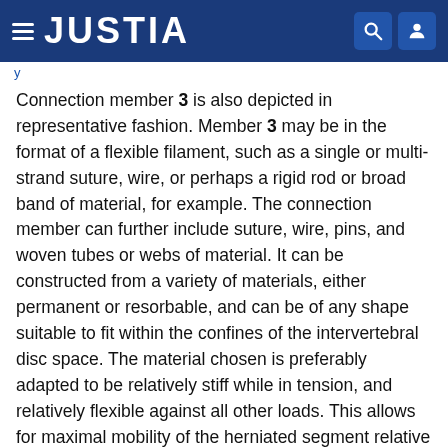JUSTIA
Connection member 3 is also depicted in representative fashion. Member 3 may be in the format of a flexible filament, such as a single or multi-strand suture, wire, or perhaps a rigid rod or broad band of material, for example. The connection member can further include suture, wire, pins, and woven tubes or webs of material. It can be constructed from a variety of materials, either permanent or resorbable, and can be of any shape suitable to fit within the confines of the intervertebral disc space. The material chosen is preferably adapted to be relatively stiff while in tension, and relatively flexible against all other loads. This allows for maximal mobility of the herniated segment relative to the anchor without the risk of the supported segment moving outside of the pre-herniated borders of the disc. The connection member may be an integral component of either the